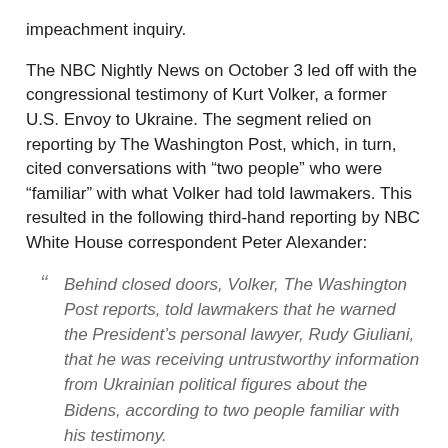impeachment inquiry.
The NBC Nightly News on October 3 led off with the congressional testimony of Kurt Volker, a former U.S. Envoy to Ukraine. The segment relied on reporting by The Washington Post, which, in turn, cited conversations with “two people” who were “familiar” with what Volker had told lawmakers. This resulted in the following third-hand reporting by NBC White House correspondent Peter Alexander:
“ Behind closed doors, Volker, The Washington Post reports, told lawmakers that he warned the President’s personal lawyer, Rudy Giuliani, that he was receiving untrustworthy information from Ukrainian political figures about the Bidens, according to two people familiar with his testimony.
On October 8, ABC chief White House correspondent Jonathan Karl led off World News Tonight with a quote from an